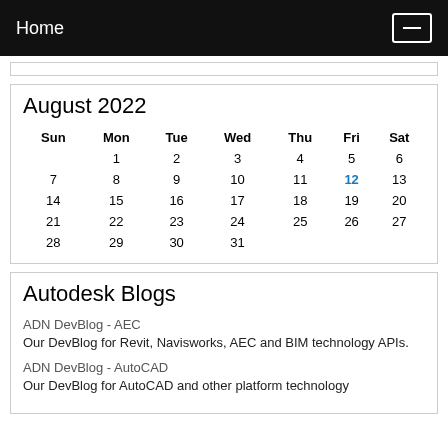Home
August 2022
| Sun | Mon | Tue | Wed | Thu | Fri | Sat |
| --- | --- | --- | --- | --- | --- | --- |
|  | 1 | 2 | 3 | 4 | 5 | 6 |
| 7 | 8 | 9 | 10 | 11 | 12 | 13 |
| 14 | 15 | 16 | 17 | 18 | 19 | 20 |
| 21 | 22 | 23 | 24 | 25 | 26 | 27 |
| 28 | 29 | 30 | 31 |  |  |  |
Autodesk Blogs
ADN DevBlog - AEC
Our DevBlog for Revit, Navisworks, AEC and BIM technology APIs.
ADN DevBlog - AutoCAD
Our DevBlog for AutoCAD and other platform technology